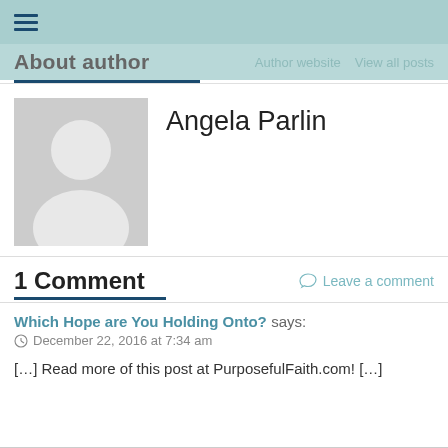About author   Author website   View all posts
[Figure (photo): Default grey avatar placeholder image showing a silhouette of a person (head and shoulders) on a light grey background]
Angela Parlin
1 Comment
Leave a comment
Which Hope are You Holding Onto? says:
December 22, 2016 at 7:34 am
[…] Read more of this post at PurposefulFaith.com! […]